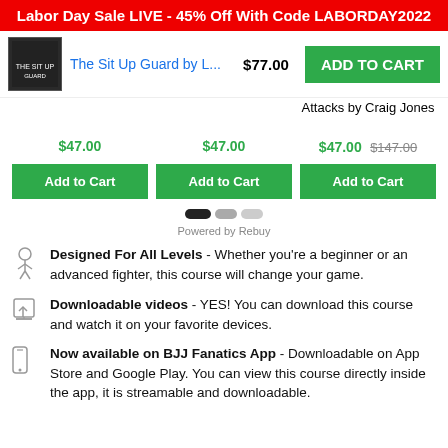Labor Day Sale LIVE - 45% Off With Code LABORDAY2022
The Sit Up Guard by L... $77.00 ADD TO CART
$47.00   Attacks by Craig Jones   $47.00 $147.00
Add to Cart  Add to Cart  Add to Cart
Powered by Rebuy
Designed For All Levels - Whether you're a beginner or an advanced fighter, this course will change your game.
Downloadable videos - YES! You can download this course and watch it on your favorite devices.
Now available on BJJ Fanatics App - Downloadable on App Store and Google Play. You can view this course directly inside the app, it is streamable and downloadable.